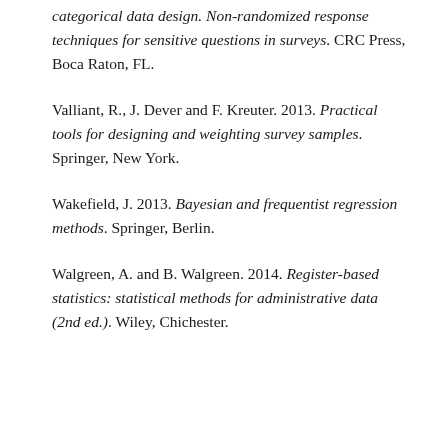categorical data design. Non-randomized response techniques for sensitive questions in surveys. CRC Press, Boca Raton, FL.
Valliant, R., J. Dever and F. Kreuter. 2013. Practical tools for designing and weighting survey samples. Springer, New York.
Wakefield, J. 2013. Bayesian and frequentist regression methods. Springer, Berlin.
Walgreen, A. and B. Walgreen. 2014. Register-based statistics: statistical methods for administrative data (2nd ed.). Wiley, Chichester.